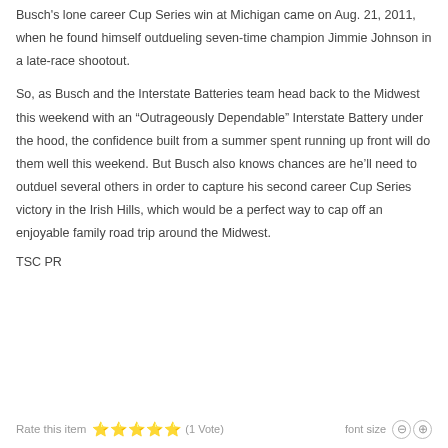Busch's lone career Cup Series win at Michigan came on Aug. 21, 2011, when he found himself outdueling seven-time champion Jimmie Johnson in a late-race shootout.
So, as Busch and the Interstate Batteries team head back to the Midwest this weekend with an “Outrageously Dependable” Interstate Battery under the hood, the confidence built from a summer spent running up front will do them well this weekend. But Busch also knows chances are he’ll need to outduel several others in order to capture his second career Cup Series victory in the Irish Hills, which would be a perfect way to cap off an enjoyable family road trip around the Midwest.
TSC PR
Rate this item ★★★★★ (1 Vote)   font size ⊖ ⊕